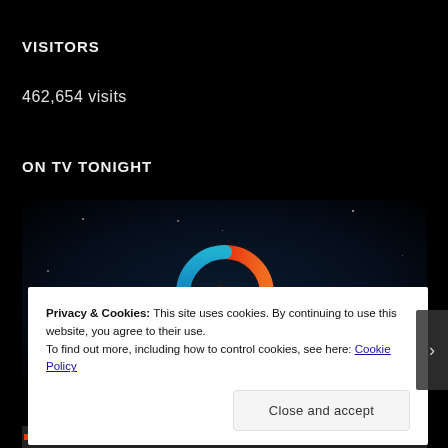VISITORS
462,654 visits
ON TV TONIGHT
[Figure (logo): TV streaming service logo — a circular play button shape with red, orange, teal, and green gradient segments on a dark starry background]
Privacy & Cookies: This site uses cookies. By continuing to use this website, you agree to their use.
To find out more, including how to control cookies, see here: Cookie Policy
Close and accept